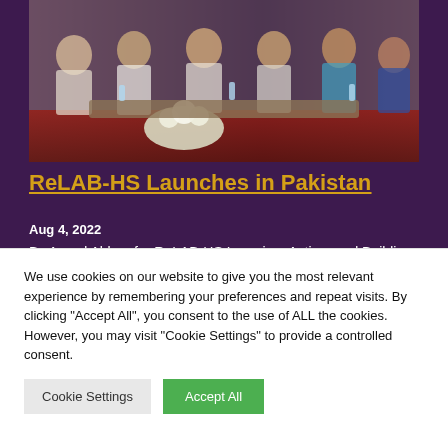[Figure (photo): Panel of people seated on stage at a formal event, with floral arrangement in foreground and purple/red backdrop behind]
ReLAB-HS Launches in Pakistan
Aug 4, 2022
By Assad Abbas for ReLAB-HS Learning, Acting, and Building for Rehabilitation in Health Systems (ReLAB-
We use cookies on our website to give you the most relevant experience by remembering your preferences and repeat visits. By clicking "Accept All", you consent to the use of ALL the cookies. However, you may visit "Cookie Settings" to provide a controlled consent.